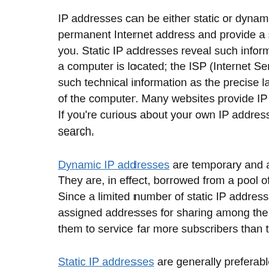IP addresses can be either static or dynamic. Static IP addresses permanent Internet address and provide a simple and reliable wa you. Static IP addresses reveal such information as the continen a computer is located; the ISP (Internet Service Provider) that se such technical information as the precise latitude and longitude of the computer. Many websites provide IP address look-up serv If you're curious about your own IP address, you can locate thes search.
Dynamic IP addresses are temporary and are assigned each time They are, in effect, borrowed from a pool of IP addresses that ar Since a limited number of static IP addresses are available, man assigned addresses for sharing among their subscribers in this w them to service far more subscribers than they otherwise could.
Static IP addresses are generally preferable for such uses as VO online gaming, or any other purpose where users need to make i and connect to them. Easy access can also be facilitated when u